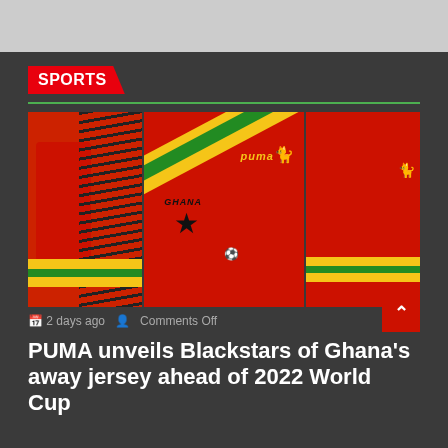SPORTS
[Figure (photo): Three-panel photo of Ghana's PUMA away jersey for 2022 World Cup — left panel shows jersey sleeve with diagonal stripes, center panel shows close-up of jersey chest with PUMA logo, Ghana badge with black star, and red/yellow/green sash pattern, right panel shows sleeve detail with PUMA cat logo and sash.]
2 days ago   Comments Off
PUMA unveils Blackstars of Ghana's away jersey ahead of 2022 World Cup